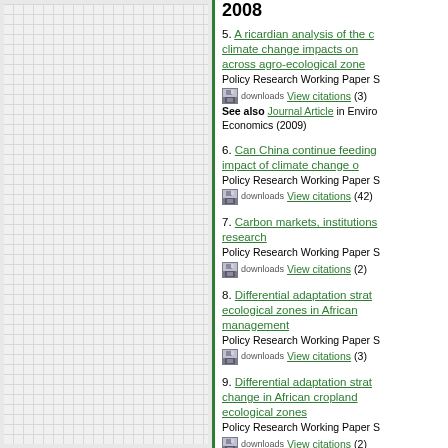2008
5. A ricardian analysis of the climate change impacts on across agro-ecological zones — Policy Research Working Paper S — downloads View citations (3) — See also Journal Article in Environmental Economics (2009)
6. Can China continue feeding — impact of climate change on — Policy Research Working Paper S — downloads View citations (42)
7. Carbon markets, institutions — research — Policy Research Working Paper S — downloads View citations (2)
8. Differential adaptation strat — ecological zones in African — management — Policy Research Working Paper S — downloads View citations (3)
9. Differential adaptation strat — change in African cropland — ecological zones — Policy Research Working Paper S — downloads View citations (2)